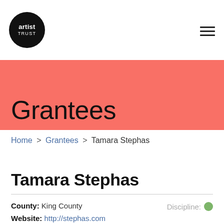artist trust
Grantees
Home > Grantees > Tamara Stephas
Tamara Stephas
County: King County
Website: http://stephas.com
Discipline: